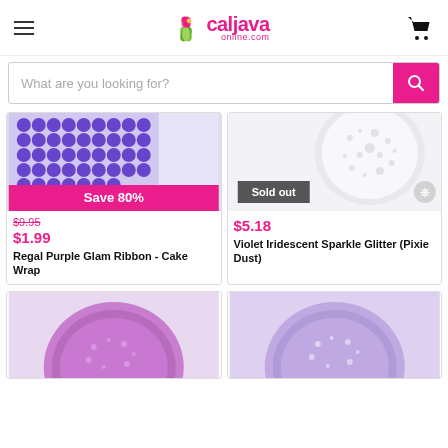[Figure (logo): CalJavaOnline.com logo with flower emblem]
What are you looking for?
[Figure (photo): Regal Purple Glam Ribbon - Cake Wrap product image showing purple rhinestone grid]
Save 80%
$9.95
$1.99
Regal Purple Glam Ribbon - Cake Wrap
[Figure (photo): Violet Iridescent Sparkle Glitter (Pixie Dust) product image showing white/clear glitter in container]
Sold out
$5.18
Violet Iridescent Sparkle Glitter (Pixie Dust)
[Figure (photo): Purple glitter product in circular container - bottom left]
[Figure (photo): Lavender/silver glitter product in circular container - bottom right]